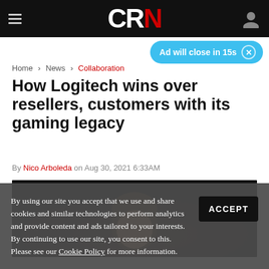CRN
Ad will close in 15s
Home > News > Collaboration
How Logitech wins over resellers, customers with its gaming legacy
By Nico Arboleda on Aug 30, 2021 6:33AM
[Figure (photo): Portrait photo of a person against dark background, top of head visible]
By using our site you accept that we use and share cookies and similar technologies to perform analytics and provide content and ads tailored to your interests. By continuing to use our site, you consent to this. Please see our Cookie Policy for more information.